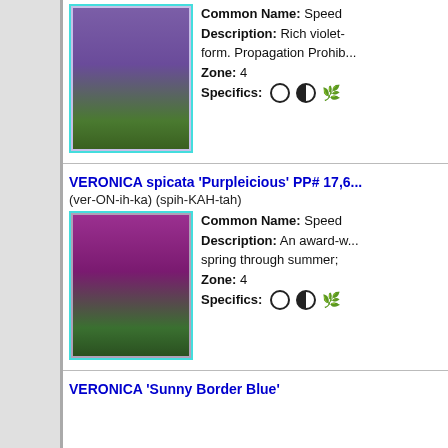VERONICA spicata 'Purpleicious' PP# 17,6...
(ver-ON-ih-ka) (spih-KAH-tah)
[Figure (photo): Photo of Veronica spicata with rich violet-blue tall spike flowers with green foliage]
Common Name: Speed...
Description: Rich violet-...
form. Propagation Prohib...
Zone: 4
Specifics: (circle) (half-circle) (plant icon)
VERONICA spicata 'Purpleicious' PP# 17,6...
(ver-ON-ih-ka) (spih-KAH-tah)
[Figure (photo): Photo of Veronica spicata 'Purpleicious' with bright purple-pink tall spike flowers]
Common Name: Speed...
Description: An award-w... spring through summer;
Zone: 4
Specifics: (circle) (half-circle) (plant icon)
VERONICA 'Sunny Border Blue'